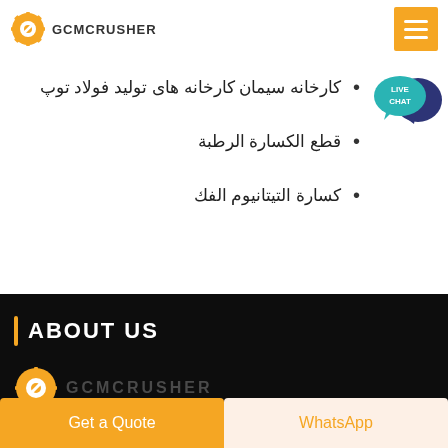GCMCRUSHER
کارخانه سیمان کارخانه های تولید فولاد توپ
قطع الكسارة الرطبة
كسارة التيتانيوم الفك
[Figure (illustration): Live Chat speech bubble icon with teal background and white text]
ABOUT US
[Figure (logo): GCMCRUSHER logo in dark footer area with gear icon]
Get a Quote
WhatsApp